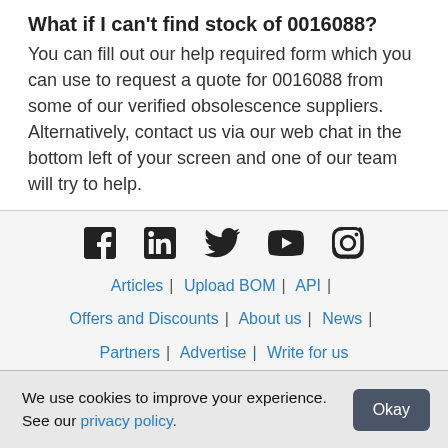What if I can't find stock of 0016088?
You can fill out our help required form which you can use to request a quote for 0016088 from some of our verified obsolescence suppliers. Alternatively, contact us via our web chat in the bottom left of your screen and one of our team will try to help.
[Figure (other): Social media icons: Facebook, LinkedIn, Twitter, YouTube, Instagram]
Articles | Upload BOM | API | Offers and Discounts | About us | News | Partners | Advertise | Write for us
We use cookies to improve your experience. See our privacy policy.